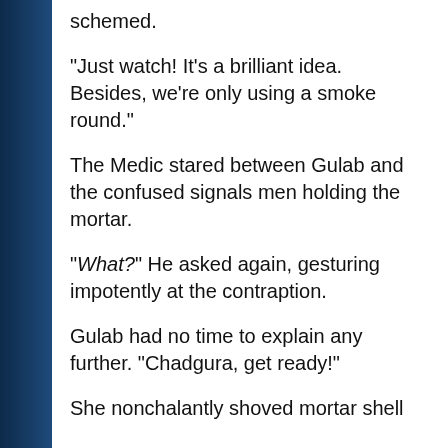schemed.
“Just watch! It’s a brilliant idea. Besides, we’re only using a smoke round.”
The Medic stared between Gulab and the confused signals men holding the mortar.
“What?” He asked again, gesturing impotently at the contraption.
Gulab had no time to explain any further. “Chadgura, get ready!”
She nonchalantly shoved mortar shell down the tube, and the shell